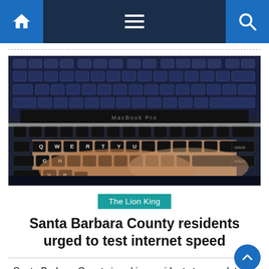Navigation bar with home icon, menu icon, and search icon
[Figure (photo): Close-up photograph of hands typing on a MacBook Pro keyboard, viewed from above, dark background with backlit keys visible.]
The Lion King
Santa Barbara County residents urged to test internet speed
Santa Barbara County is asking residents to complete an